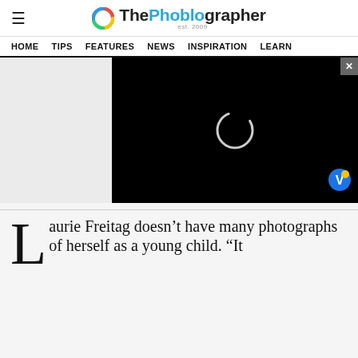ThePhoblographer
HOME  TIPS  FEATURES  NEWS  INSPIRATION  LEARN
[Figure (screenshot): Video player with black background showing a loading spinner (white circle outline) and a close button (x) in the upper right. A small colorful V badge appears in the lower right of the video. Left side shows a grey advertisement placeholder area.]
Laurie Freitag doesn’t have many photographs of herself as a young child. “It